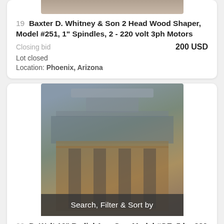[Figure (photo): Partial top image of Lot 19 wood shaper machine, cropped at top of page]
19  Baxter D. Whitney & Son 2 Head Wood Shaper, Model #251, 1" Spindles, 2 - 220 volt 3ph Motors
Closing bid   200 USD
Lot closed
Location: Phoenix, Arizona
[Figure (photo): Photo of Lot 20 DeWalt 16-inch Radial Arm Saw Model #GE mounted on a wooden table in a warehouse]
Search, Filter & Sort by
20  DeWalt 16" Radial Arm Saw Model #GE, 5 hp 220 volt 3ph Motor
Closing bid